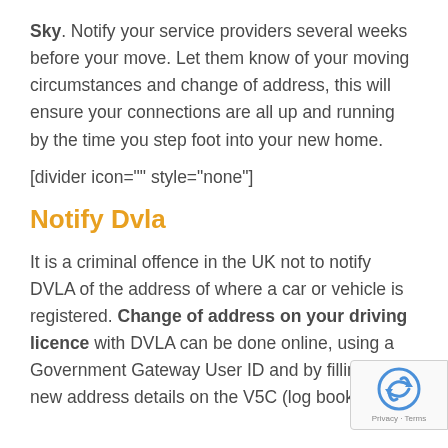Sky. Notify your service providers several weeks before your move. Let them know of your moving circumstances and change of address, this will ensure your connections are all up and running by the time you step foot into your new home.
[divider icon="" style="none"]
Notify Dvla
It is a criminal offence in the UK not to notify DVLA of the address of where a car or vehicle is registered. Change of address on your driving licence with DVLA can be done online, using a Government Gateway User ID and by filling in new address details on the V5C (log book) or v...